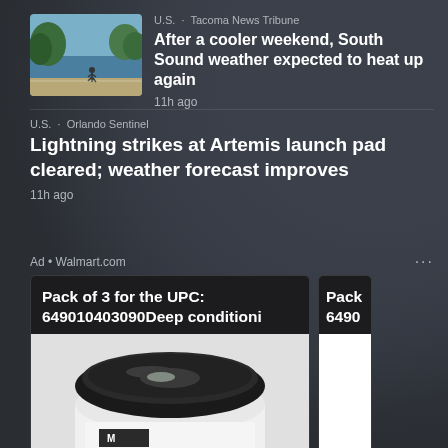U.S. · Tacoma News Tribune
[Figure (photo): Thumbnail photo showing a person jogging along a waterfront path with trees and water in background]
After a cooler weekend, South Sound weather expected to heat up again
11h ago
U.S. · Orlando Sentinel
Lightning strikes at Artemis launch pad cleared; weather forecast improves
11h ago
Ad • Walmart.com
Pack of 3 for the UPC: 649010403090Deep conditioni
[Figure (photo): Product photo of a white jar with black lid containing hair conditioning product]
Pack 6490